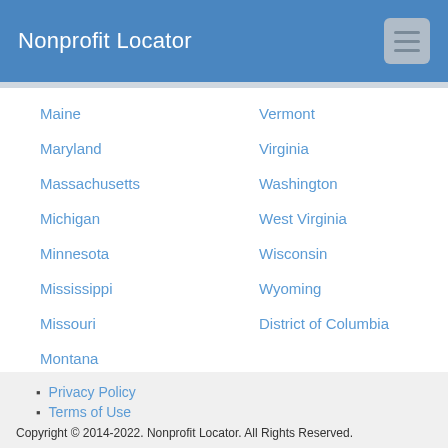Nonprofit Locator
Maine
Maryland
Massachusetts
Michigan
Minnesota
Mississippi
Missouri
Montana
Vermont
Virginia
Washington
West Virginia
Wisconsin
Wyoming
District of Columbia
Privacy Policy
Terms of Use
Copyright © 2014-2022. Nonprofit Locator. All Rights Reserved.